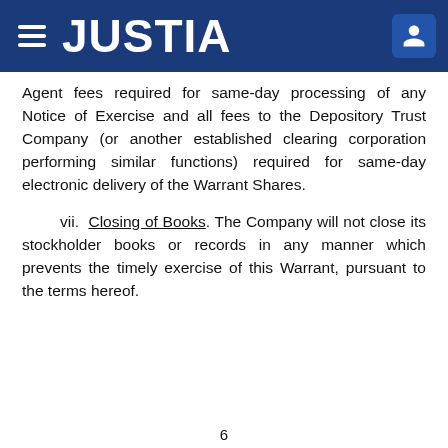JUSTIA
Agent fees required for same-day processing of any Notice of Exercise and all fees to the Depository Trust Company (or another established clearing corporation performing similar functions) required for same-day electronic delivery of the Warrant Shares.
vii. Closing of Books. The Company will not close its stockholder books or records in any manner which prevents the timely exercise of this Warrant, pursuant to the terms hereof.
6